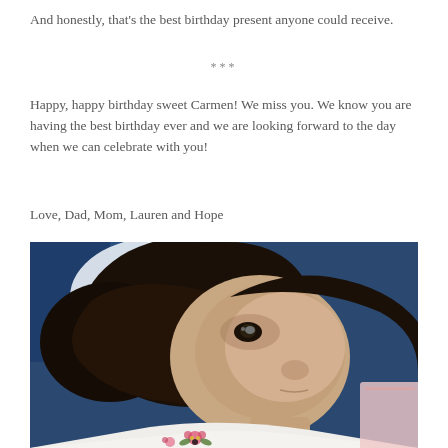And honestly, that's the best birthday present anyone could receive.
***
Happy, happy birthday sweet Carmen! We miss you. We know you are having the best birthday ever and we are looking forward to the day when we can celebrate with you!
Love, Dad, Mom, Lauren and Hope
[Figure (photo): Close-up portrait of a young girl with dark hair lying down, wearing a white embroidered top with floral pattern in pink and green. She is looking to the side with dark eyes. The background shows blue tones.]